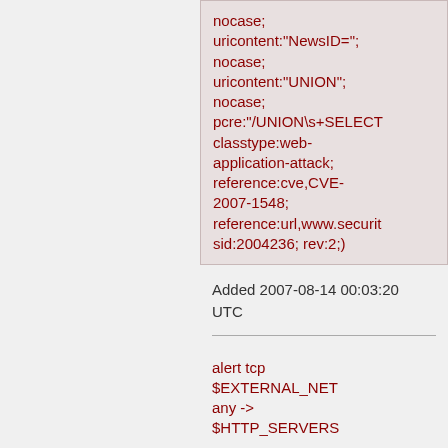nocase; uricontent:"NewsID="; nocase; uricontent:"UNION"; nocase; pcre:"/UNION\s+SELECT classtype:web-application-attack; reference:cve,CVE-2007-1548; reference:url,www.securit sid:2004236; rev:2;)
Added 2007-08-14 00:03:20 UTC
alert tcp $EXTERNAL_NET any -> $HTTP_SERVERS